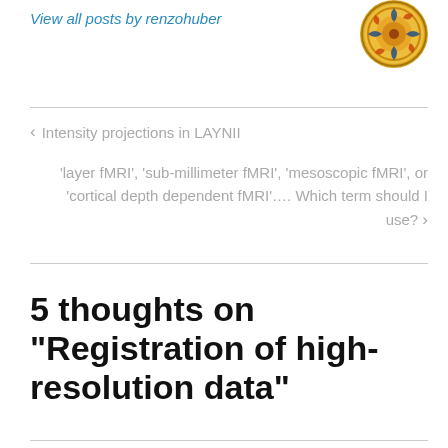View all posts by renzohuber
[Figure (illustration): Circular ornamental logo with gold, blue, and orange decorative pattern]
< Intensity projections in LAYNII
'layer fMRI', 'sub-millimeter fMRI', 'mesoscopic fMRI', or 'cortical depth dependent fMRI'…. Which term should I use? >
5 thoughts on "Registration of high-resolution data"